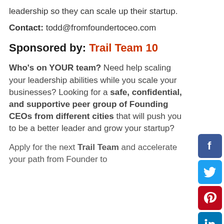leadership so they can scale up their startup.
Contact: todd@fromfoundertoceo.com
Sponsored by: Trail Team 10
Who's on YOUR team? Need help scaling your leadership abilities while you scale your businesses? Looking for a safe, confidential, and supportive peer group of Founding CEOs from different cities that will push you to be a better leader and grow your startup?
Apply for the next Trail Team and accelerate your path from Founder to
[Figure (illustration): Social media share buttons: Facebook (blue), Twitter (light blue), Pinterest (red), LinkedIn (blue)]